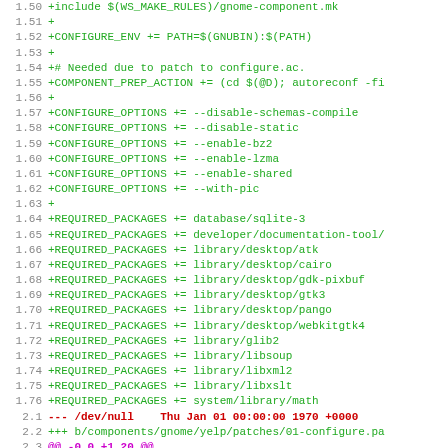Code diff showing makefile and patch lines with line numbers 1.50 through 2.6
1.50 +include $(WS_MAKE_RULES)/gnome-component.mk
1.51 +
1.52 +CONFIGURE_ENV += PATH=$(GNUBIN):$(PATH)
1.53 +
1.54 +# Needed due to patch to configure.ac.
1.55 +COMPONENT_PREP_ACTION += (cd $(@D); autoreconf -fi
1.56 +
1.57 +CONFIGURE_OPTIONS += --disable-schemas-compile
1.58 +CONFIGURE_OPTIONS += --disable-static
1.59 +CONFIGURE_OPTIONS += --enable-bz2
1.60 +CONFIGURE_OPTIONS += --enable-lzma
1.61 +CONFIGURE_OPTIONS += --enable-shared
1.62 +CONFIGURE_OPTIONS += --with-pic
1.63 +
1.64 +REQUIRED_PACKAGES += database/sqlite-3
1.65 +REQUIRED_PACKAGES += developer/documentation-tool/
1.66 +REQUIRED_PACKAGES += library/desktop/atk
1.67 +REQUIRED_PACKAGES += library/desktop/cairo
1.68 +REQUIRED_PACKAGES += library/desktop/gdk-pixbuf
1.69 +REQUIRED_PACKAGES += library/desktop/gtk3
1.70 +REQUIRED_PACKAGES += library/desktop/pango
1.71 +REQUIRED_PACKAGES += library/desktop/webkitgtk4
1.72 +REQUIRED_PACKAGES += library/glib2
1.73 +REQUIRED_PACKAGES += library/libsoup
1.74 +REQUIRED_PACKAGES += library/libxml2
1.75 +REQUIRED_PACKAGES += library/libxslt
1.76 +REQUIRED_PACKAGES += system/library/math
2.1 --- /dev/null   Thu Jan 01 00:00:00 1970 +0000
2.2 +++ b/components/gnome/yelp/patches/01-configure.pa
2.3 @@ -0,0 +1,20 @@
2.4 +Passing $ax_is_release is not only unnecessary (the
2.5 +use it by default), but wrong as it causes an inva
2.6 +define to be generated.